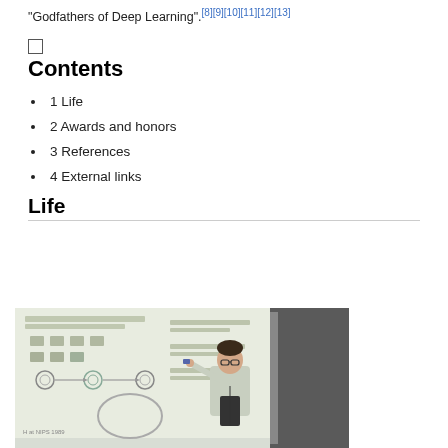"Godfathers of Deep Learning".[8][9][10][11][12][13]
Contents
1 Life
2 Awards and honors
3 References
4 External links
Life
[Figure (photo): A person presenting at a whiteboard/projector screen showing neural network diagrams at what appears to be an academic lecture (NIPS 1989 noted in corner)]